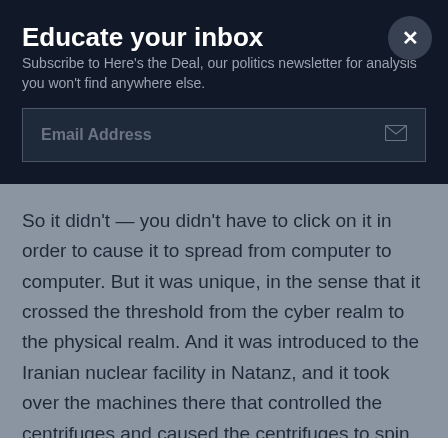Educate your inbox
Subscribe to Here's the Deal, our politics newsletter for analysis you won't find anywhere else.
Email Address
So it didn't — you didn't have to click on it in order to cause it to spread from computer to computer. But it was unique, in the sense that it crossed the threshold from the cyber realm to the physical realm. And it was introduced to the Iranian nuclear facility in Natanz, and it took over the machines there that controlled the centrifuges and caused the centrifuges to spin wildly out of control until they blew